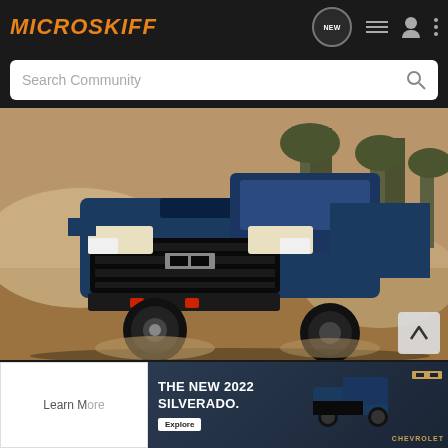MICROSKIFF
Search Community
[Figure (photo): A dark blue Chevrolet Silverado ZR2 pickup truck driving on a dusty off-road trail with trees and dust cloud in the background]
[Figure (photo): Advertisement: THE NEW 2022 SILVERADO. Explore button. Chevrolet logo. Image of Silverado truck.]